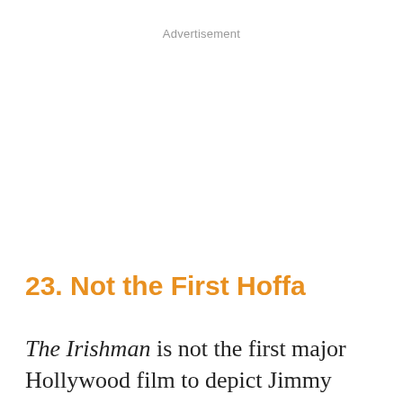Advertisement
23. Not the First Hoffa
The Irishman is not the first major Hollywood film to depict Jimmy Hoffa.